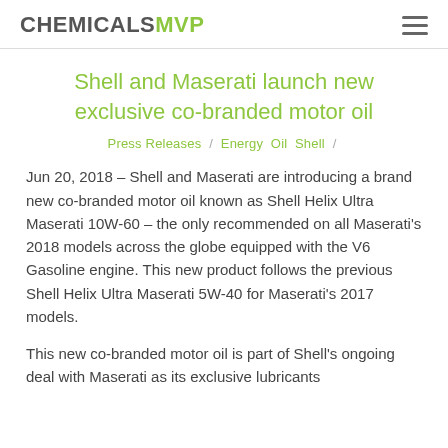CHEMICALSMVP
Shell and Maserati launch new exclusive co-branded motor oil
Press Releases / Energy Oil Shell /
Jun 20, 2018 – Shell and Maserati are introducing a brand new co-branded motor oil known as Shell Helix Ultra Maserati 10W-60 – the only recommended on all Maserati's 2018 models across the globe equipped with the V6 Gasoline engine. This new product follows the previous Shell Helix Ultra Maserati 5W-40 for Maserati's 2017 models.
This new co-branded motor oil is part of Shell's ongoing deal with Maserati as its exclusive lubricants